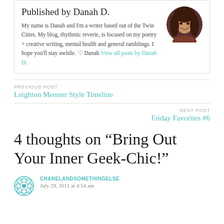Published by Danah D.
My name is Danah and I'm a writer based out of the Twin Cities. My blog, rhythmic reverie, is focused on my poetry + creative writing, mental health and general ramblings. I hope you'll stay awhile. ♡ Danah View all posts by Danah D.
[Figure (photo): Circular profile photo of Danah D., a woman with long dark hair smiling, against a dark background]
PREVIOUS POST
Leighton Meester Style Timeline
NEXT POST
Friday Favorites #6
4 thoughts on “Bring Out Your Inner Geek-Chic!”
[Figure (logo): Teal decorative mandala/flower icon for commenter Chanelandsomethingelse]
CHANELANDSOMETHINGELSE
July 29, 2011 at 4:54 am